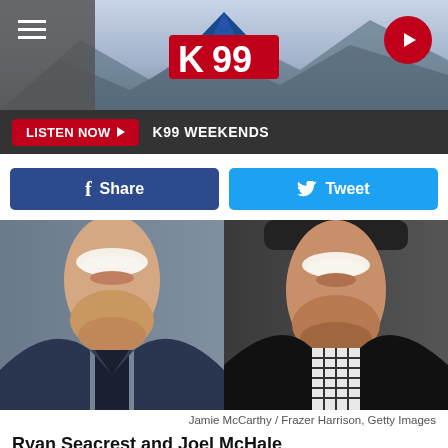[Figure (screenshot): K99 radio station website header with logo, hamburger menu, and play button on a grey/landscape background]
LISTEN NOW ▶  K99 WEEKENDS
[Figure (illustration): Social share buttons: Facebook Share (dark blue) and Twitter Tweet (light blue)]
[Figure (photo): Side-by-side photos of two smiling men cropped below nose: left man in navy suit (Ryan Seacrest), right man in black jacket and plaid shirt (Joel McHale)]
Jamie McCarthy / Frazer Harrison, Getty Images
Ryan Seacrest and Joel McHale
If you have mistaken Ryan Seacrest for Joel McHale before, you definitely aren't the only one.